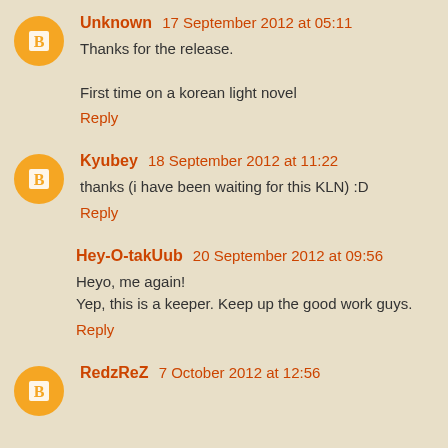Unknown 17 September 2012 at 05:11
Thanks for the release.

First time on a korean light novel
Reply
Kyubey 18 September 2012 at 11:22
thanks (i have been waiting for this KLN) :D
Reply
Hey-O-takUub 20 September 2012 at 09:56
Heyo, me again!
Yep, this is a keeper. Keep up the good work guys.
Reply
RedzReZ 7 October 2012 at 12:56